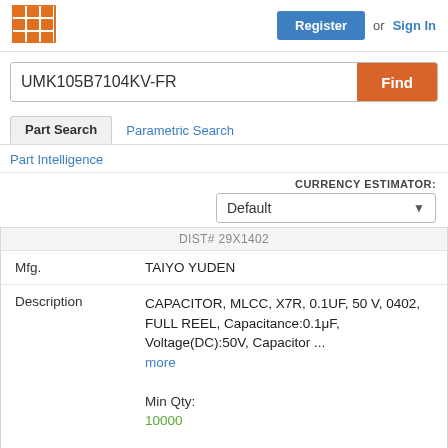[Figure (logo): Orange grid/mosaic logo icon in top left]
Register  or  Sign In
UMK105B7104KV-FR
Find
Part Search
Parametric Search
Part Intelligence
CURRENCY ESTIMATOR:
Default
DIST# 29X1402
| Field | Value |
| --- | --- |
| Mfg. | TAIYO YUDEN |
| Description | CAPACITOR, MLCC, X7R, 0.1UF, 50 V, 0402, FULL REEL, Capacitance:0.1μF, Voltage(DC):50V, Capacitor ... more
Min Qty:
10000
Container:
TAPE & REEL FULL |
| Stock | 0 |